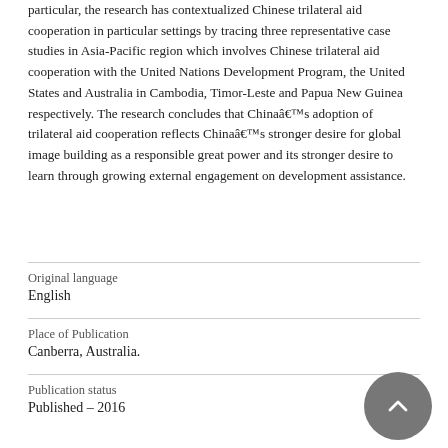particular, the research has contextualized Chinese trilateral aid cooperation in particular settings by tracing three representative case studies in Asia-Pacific region which involves Chinese trilateral aid cooperation with the United Nations Development Program, the United States and Australia in Cambodia, Timor-Leste and Papua New Guinea respectively. The research concludes that Chinaâ€™s adoption of trilateral aid cooperation reflects Chinaâ€™s stronger desire for global image building as a responsible great power and its stronger desire to learn through growing external engagement on development assistance.
| Field | Value |
| --- | --- |
| Original language | English |
| Place of Publication | Canberra, Australia. |
| Publication status | Published – 2016 |